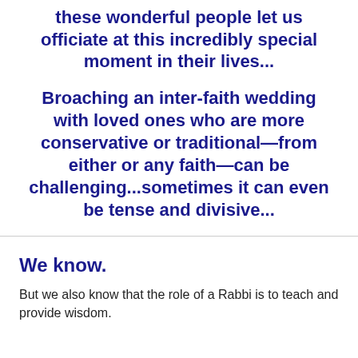these wonderful people let us officiate at this incredibly special moment in their lives...
Broaching an inter-faith wedding with loved ones who are more conservative or traditional—from either or any faith—can be challenging...sometimes it can even be tense and divisive...
We know.
But we also know that the role of a Rabbi is to teach and provide wisdom.